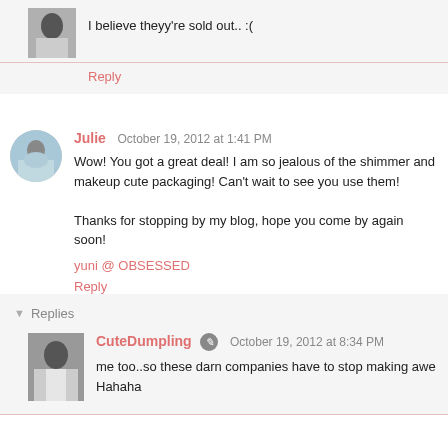I believe theyy're sold out.. :(
Reply
Julie  October 19, 2012 at 1:41 PM
Wow! You got a great deal! I am so jealous of the shimmer and makeup cute packaging! Can't wait to see you use them!

Thanks for stopping by my blog, hope you come by again soon!
yuni @ OBSESSED
Reply
Replies
CuteDumpling  October 19, 2012 at 8:34 PM
me too..so these darn companies have to stop making awe Hahaha